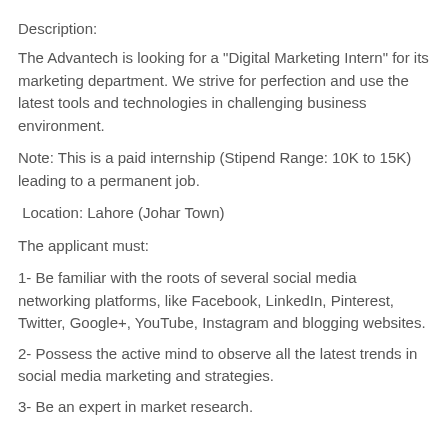Description:
The Advantech is looking for a "Digital Marketing Intern" for its marketing department. We strive for perfection and use the latest tools and technologies in challenging business environment.
Note: This is a paid internship (Stipend Range: 10K to 15K) leading to a permanent job.
Location: Lahore (Johar Town)
The applicant must:
1- Be familiar with the roots of several social media networking platforms, like Facebook, LinkedIn, Pinterest, Twitter, Google+, YouTube, Instagram and blogging websites.
2- Possess the active mind to observe all the latest trends in social media marketing and strategies.
3- Be an expert in market research.